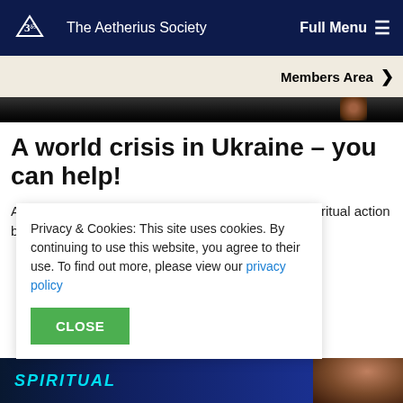The Aetherius Society | Full Menu
Members Area
[Figure (photo): Dark hero image strip showing partial view of a person]
A world crisis in Ukraine – you can help!
An appeal on behalf of The Aetherius Society for spiritual action by the biographers of Dr. George
Privacy & Cookies: This site uses cookies. By continuing to use this website, you agree to their use. To find out more, please view our privacy policy
CLOSE
[Figure (photo): Bottom image strip showing book cover with SPIRITUAL text and portrait photo on right]